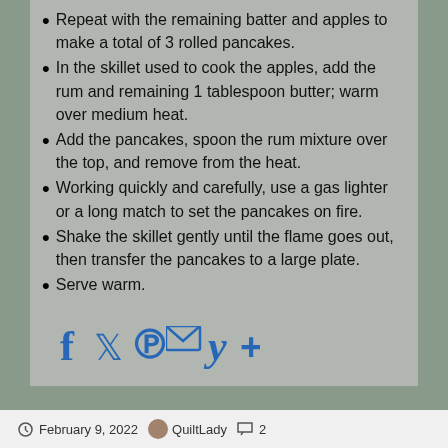Repeat with the remaining batter and apples to make a total of 3 rolled pancakes.
In the skillet used to cook the apples, add the rum and remaining 1 tablespoon butter; warm over medium heat.
Add the pancakes, spoon the rum mixture over the top, and remove from the heat.
Working quickly and carefully, use a gas lighter or a long match to set the pancakes on fire.
Shake the skillet gently until the flame goes out, then transfer the pancakes to a large plate.
Serve warm.
[Figure (infographic): Social share icons row: Facebook (f), Twitter (bird), Pinterest (P), Email (envelope), Yummly (Y), More (+), all in blue]
February 9, 2022  QuiltLady  2